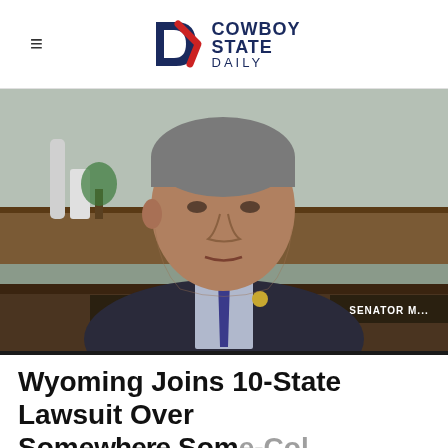Cowboy State Daily
[Figure (photo): A man in a dark suit with a blue tie, seated at what appears to be a Senate hearing room. A nameplate reading 'SENATOR' is visible in the foreground.]
Wyoming Joins 10-State Lawsuit Over Somewhere Some-Col